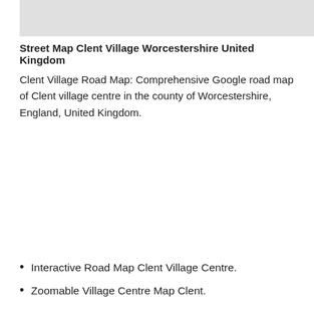[Figure (map): Partial view of a street map (Google Maps style) showing Clent Village area in Worcestershire, cropped at top of page]
Street Map Clent Village Worcestershire United Kingdom
Clent Village Road Map: Comprehensive Google road map of Clent village centre in the county of Worcestershire, England, United Kingdom.
Interactive Road Map Clent Village Centre.
Zoomable Village Centre Map Clent.